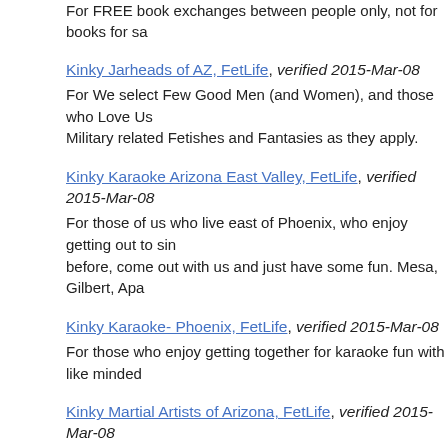For FREE book exchanges between people only, not for books for sa
Kinky Jarheads of AZ, FetLife, verified 2015-Mar-08
For We select Few Good Men (and Women), and those who Love Us Military related Fetishes and Fantasies as they apply.
Kinky Karaoke Arizona East Valley, FetLife, verified 2015-Mar-08
For those of us who live east of Phoenix, who enjoy getting out to sin before, come out with us and just have some fun. Mesa, Gilbert, Apa
Kinky Karaoke- Phoenix, FetLife, verified 2015-Mar-08
For those who enjoy getting together for karaoke fun with like minded
Kinky Martial Artists of Arizona, FetLife, verified 2015-Mar-08
Talk styles , forms, code's of conduct expected & what you have expe to train in , m.a. bedroom rp & more.
Kinky Swingers – Arizona, FetLife, verified 2015-Mar-08
For those in AZ who love both Swinging and BDSM. Post parties and combining the lifestyles.